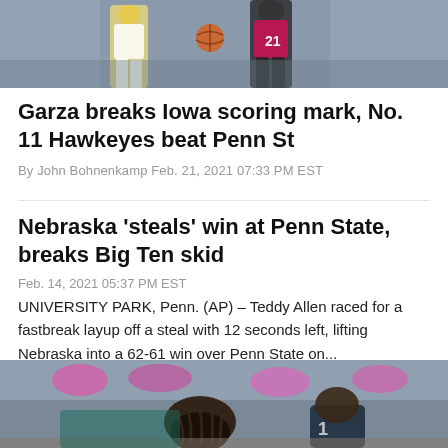[Figure (photo): Basketball players on court, Iowa vs Penn State, player wearing Penn State jersey number 21]
Garza breaks Iowa scoring mark, No. 11 Hawkeyes beat Penn St
By John Bohnenkamp Feb. 21, 2021 07:33 PM EST
Nebraska 'steals' win at Penn State, breaks Big Ten skid
Feb. 14, 2021 05:37 PM EST
UNIVERSITY PARK, Penn. (AP) – Teddy Allen raced for a fastbreak layup off a steal with 12 seconds left, lifting Nebraska into a 62-61 win over Penn State on...
[Figure (photo): Basketball players on court, close-up action shot]